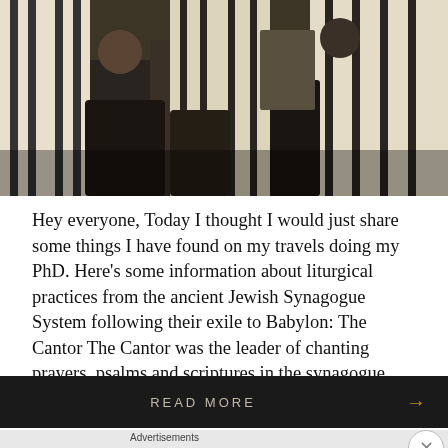[Figure (photo): Photograph of people in a synagogue wearing white and black striped prayer shawls (tallitot), seated in dark chairs]
Hey everyone, Today I thought I would just share some things I have found on my travels doing my PhD. Here's some information about liturgical practices from the ancient Jewish Synagogue System following their exile to Babylon: The Cantor The Cantor was the leader of chanting prayers, psalms and scriptures in the synagogue, which became [...]
READ MORE →
Advertisements
[Figure (screenshot): DuckDuckGo advertisement banner: 'Search, browse, and email with more privacy. All in One Free App' with DuckDuckGo logo on dark background]